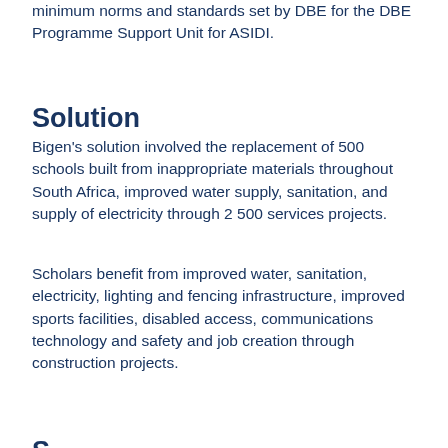minimum norms and standards set by DBE for the DBE Programme Support Unit for ASIDI.
Solution
Bigen's solution involved the replacement of 500 schools built from inappropriate materials throughout South Africa, improved water supply, sanitation, and supply of electricity through 2 500 services projects.
Scholars benefit from improved water, sanitation, electricity, lighting and fencing infrastructure, improved sports facilities, disabled access, communications technology and safety and job creation through construction projects.
S